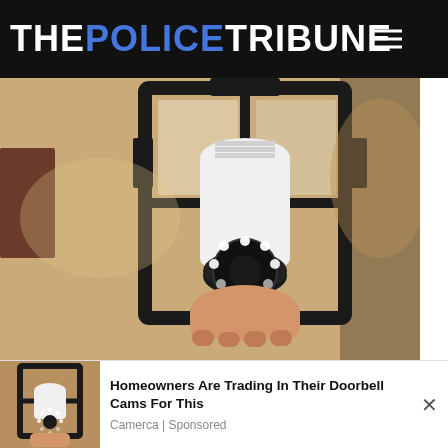THE POLICE TRIBUNE
[Figure (photo): A security camera shaped like a light bulb installed inside a black lantern-style outdoor wall light fixture, with a hand holding it against a textured tan/beige stucco wall.]
Homeowners Are Trading In Their Doorbell Cams For This
[Figure (photo): Smaller thumbnail of same security camera light bulb in dark lantern fixture — advertisement image.]
Homeowners Are Trading In Their Doorbell Cams For This
Camerca | Sponsored